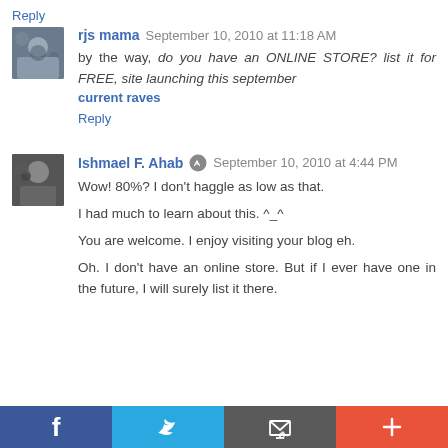Reply
rjs mama  September 10, 2010 at 11:18 AM
by the way, do you have an ONLINE STORE? list it for FREE, site launching this september
current raves
Reply
Ishmael F. Ahab  September 10, 2010 at 4:44 PM
Wow! 80%? I don't haggle as low as that.
I had much to learn about this. ^_^
You are welcome. I enjoy visiting your blog eh.
Oh. I don't have an online store. But if I ever have one in the future, I will surely list it there.
[Figure (screenshot): Social sharing bar with Facebook, Twitter, Email, and Plus buttons]